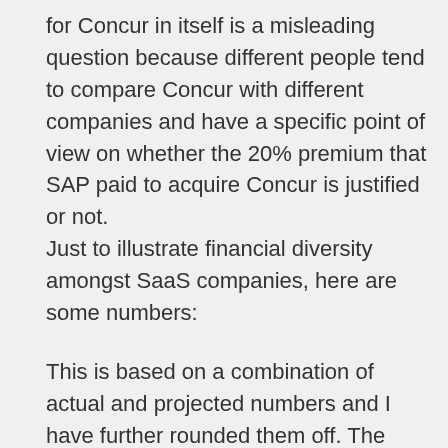for Concur in itself is a misleading question because different people tend to compare Concur with different companies and have a specific point of view on whether the 20% premium that SAP paid to acquire Concur is justified or not.
Just to illustrate financial diversity amongst SaaS companies, here are some numbers:
This is based on a combination of actual and projected numbers and I have further rounded them off. The objective is not to compare the numbers with precision